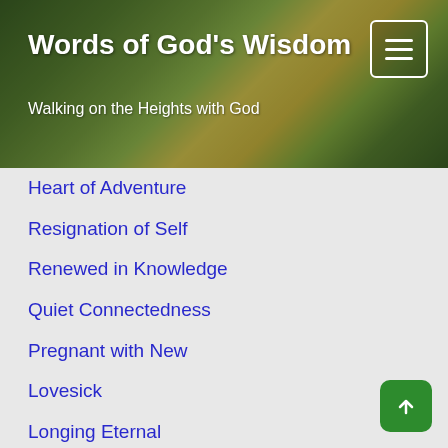Words of God's Wisdom
Walking on the Heights with God
Heart of Adventure
Resignation of Self
Renewed in Knowledge
Quiet Connectedness
Pregnant with New
Lovesick
Longing Eternal
What Have Ye Need Of
All is Not Lost
Where He Would Have Me
Mistaken Identity
Gentleness, Not Criticism
Sweet Smell of Prayer